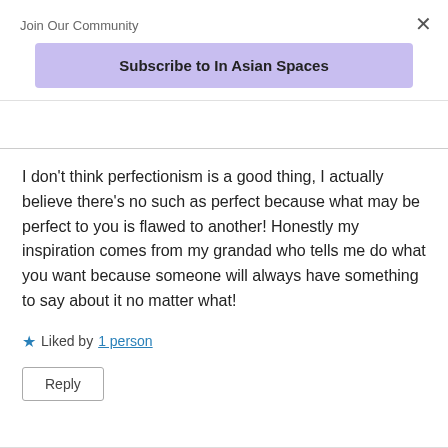Join Our Community
Subscribe to In Asian Spaces
I don’t think perfectionism is a good thing, I actually believe there’s no such as perfect because what may be perfect to you is flawed to another! Honestly my inspiration comes from my grandad who tells me do what you want because someone will always have something to say about it no matter what!
Liked by 1 person
Reply